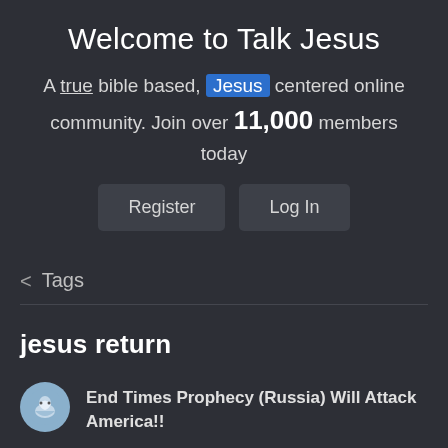Welcome to Talk Jesus
A true bible based, Jesus centered online community. Join over 11,000 members today
Register  Log In
< Tags
jesus return
End Times Prophecy (Russia) Will Attack America!!